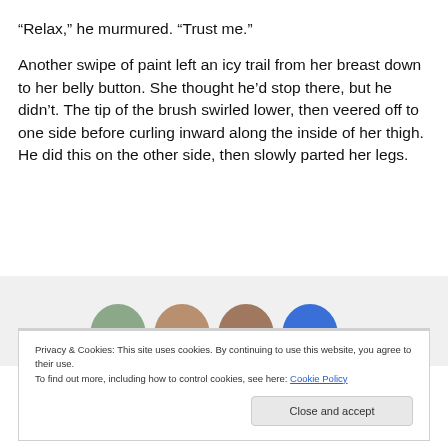“Relax,” he murmured. “Trust me.”
Another swipe of paint left an icy trail from her breast down to her belly button. She thought he’d stop there, but he didn’t. The tip of the brush swirled lower, then veered off to one side before curling inward along the inside of her thigh. He did this on the other side, then slowly parted her legs.
[Figure (other): Row of partially visible circular avatar/profile photos against a light grey background]
Privacy & Cookies: This site uses cookies. By continuing to use this website, you agree to their use.
To find out more, including how to control cookies, see here: Cookie Policy
Close and accept